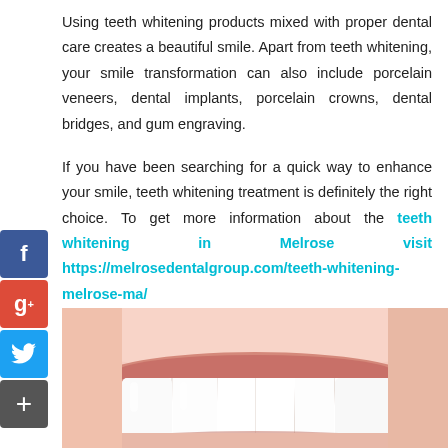Using teeth whitening products mixed with proper dental care creates a beautiful smile. Apart from teeth whitening, your smile transformation can also include porcelain veneers, dental implants, porcelain crowns, dental bridges, and gum engraving.
If you have been searching for a quick way to enhance your smile, teeth whitening treatment is definitely the right choice. To get more information about the teeth whitening in Melrose visit https://melrosedentalgroup.com/teeth-whitening-melrose-ma/
[Figure (photo): Close-up photo of a person smiling showing white teeth]